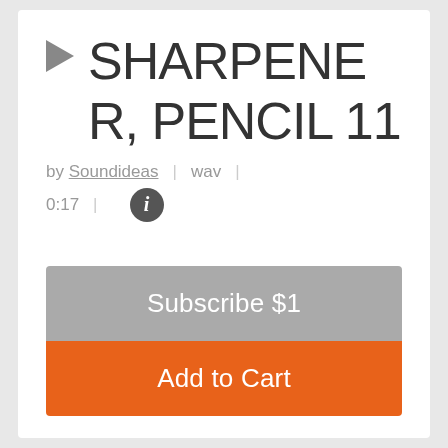SHARPENER, PENCIL 11
by Soundideas  |  wav  |  0:17  |  i
Subscribe $1
Add to Cart